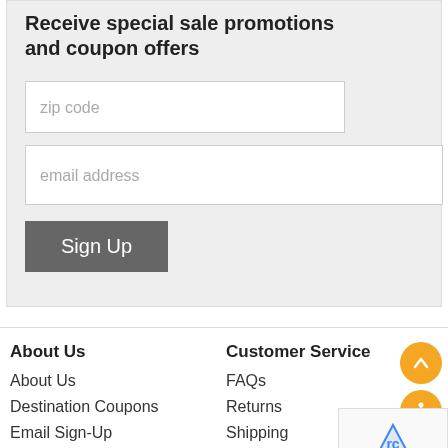Receive special sale promotions and coupon offers
[Figure (screenshot): zip code input field placeholder text]
[Figure (screenshot): email address input field placeholder text]
[Figure (screenshot): Sign Up button]
About Us
About Us
Destination Coupons
Email Sign-Up
Sitemap
Customer Service
FAQs
Returns
Shipping
Privacy Policy